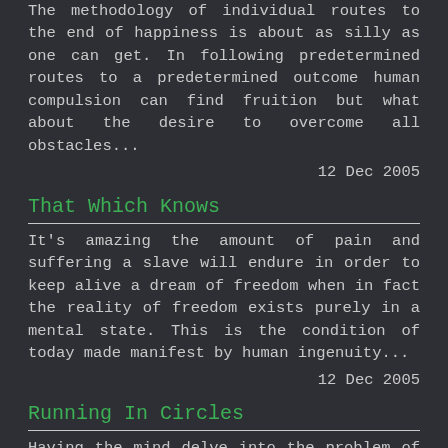The methodology of individual routes to the end of happiness is about as silly as one can get. In following predetermined routes to a predetermined outcome human compulsion can find fruition but what about the desire to overcome all obstacles...
12 Dec 2005
That Which Knows
It's amazing the amount of pain and suffering a slave will endure in order to keep alive a dream of freedom when in fact the reality of freedom exists purely in a mental state. This is the condition of today made manifest by human ingenuity...
12 Dec 2005
Running In Circles
Having the mind delve into the problem of human nature is like having a hamster seek for the end of the wheel. In order for resolution to take place one must...